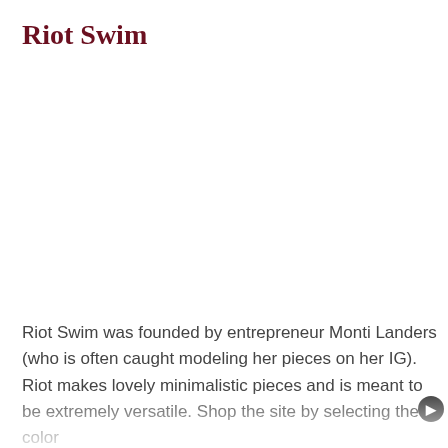Riot Swim
Riot Swim was founded by entrepreneur Monti Landers (who is often caught modeling her pieces on her IG). Riot makes lovely minimalistic pieces and is meant to be extremely versatile. Shop the site by selecting the color you want, find the swimsuit type, then the style. You can mix and match all of the pieces and will find a wide